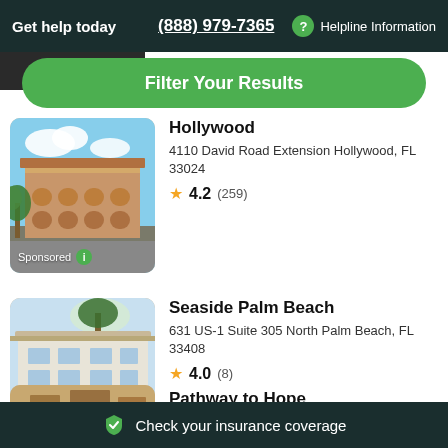Get help today   (888) 979-7365   ? Helpline Information
[Figure (screenshot): Dark partial image strip at top of listing scroll area]
Filter Your Results
Hollywood
4110 David Road Extension Hollywood, FL 33024
4.2 (259)
[Figure (photo): Sponsored photo of a multi-story beige building with arches and palm trees - Hollywood listing]
Seaside Palm Beach
631 US-1 Suite 305 North Palm Beach, FL 33408
4.0 (8)
[Figure (photo): Sponsored photo of a white multi-story building with a garage - Seaside Palm Beach listing]
Pathway to Hope
[Figure (photo): Partial photo of a tan/brown building - Pathway to Hope listing]
Check your insurance coverage